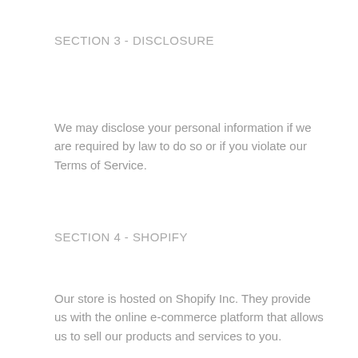SECTION 3 - DISCLOSURE
We may disclose your personal information if we are required by law to do so or if you violate our Terms of Service.
SECTION 4 - SHOPIFY
Our store is hosted on Shopify Inc. They provide us with the online e-commerce platform that allows us to sell our products and services to you.